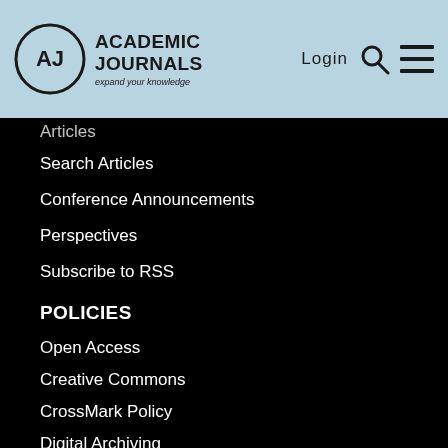[Figure (logo): Academic Journals logo with circular AJ emblem and text 'ACADEMIC JOURNALS expand your knowledge']
Articles
Search Articles
Conference Announcements
Perspectives
Subscribe to RSS
POLICIES
Open Access
Creative Commons
CrossMark Policy
Digital Archiving
Self-Archiving
Article Copyright
ABOUT